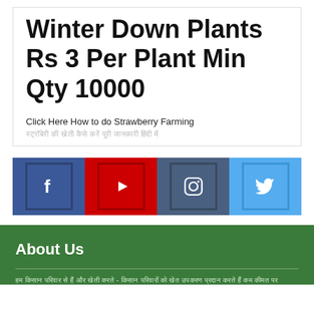Winter Down Plants Rs 3 Per Plant Min Qty 10000
Click Here How to do Strawberry Farming
स्ट्रॉबेरी की खेती कैसे करें पूरी जानकारी हिंदी में
[Figure (infographic): Social media icons bar: Facebook (blue), YouTube (red), Instagram (steel blue), Twitter (light blue)]
About Us
हम किसान परिवार से हैं और खेती करते - किसान परिवारों को खेत उपकरण प्रदान करते हैं कम कीमत पर